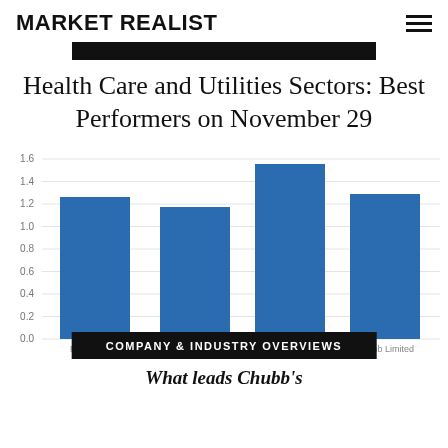MARKET REALIST
Health Care and Utilities Sectors: Best Performers on November 29
[Figure (bar-chart): Best Performers on November 29]
COMPANY & INDUSTRY OVERVIEWS
What leads Chubb's…